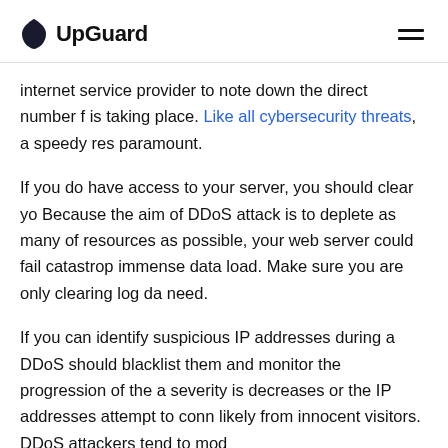UpGuard
internet service provider to note down the direct number f is taking place. Like all cybersecurity threats, a speedy res paramount.
If you do have access to your server, you should clear yo Because the aim of DDoS attack is to deplete as many of resources as possible, your web server could fail catastrop immense data load. Make sure you are only clearing log da need.
If you can identify suspicious IP addresses during a DDoS should blacklist them and monitor the progression of the a severity is decreases or the IP addresses attempt to conn likely from innocent visitors. DDoS attackers tend to mod